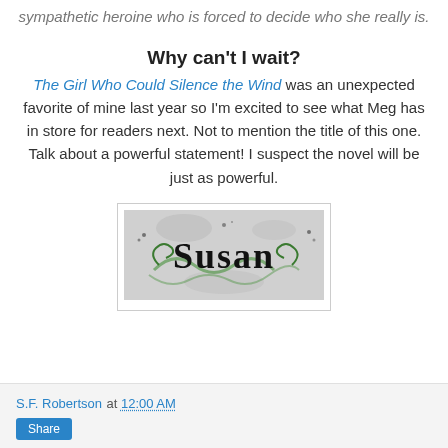sympathetic heroine who is forced to decide who she really is.
Why can't I wait?
The Girl Who Could Silence the Wind was an unexpected favorite of mine last year so I'm excited to see what Meg has in store for readers next. Not to mention the title of this one. Talk about a powerful statement! I suspect the novel will be just as powerful.
[Figure (illustration): Decorative signature reading 'Susan' in ornate black and green gothic lettering with floral flourishes on a light gray background]
S.F. Robertson at 12:00 AM